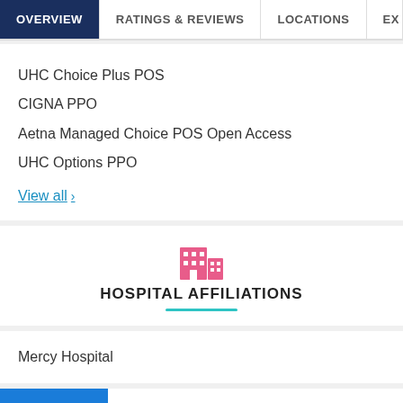OVERVIEW | RATINGS & REVIEWS | LOCATIONS | EX...
UHC Choice Plus POS
CIGNA PPO
Aetna Managed Choice POS Open Access
UHC Options PPO
View all >
HOSPITAL AFFILIATIONS
Mercy Hospital